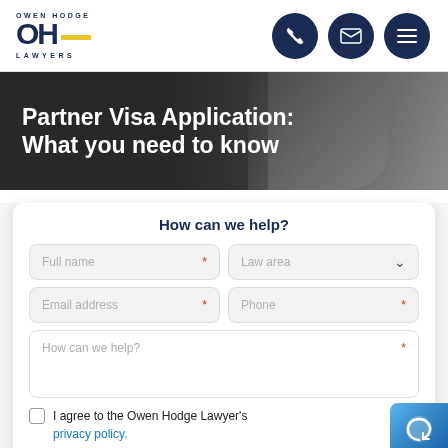[Figure (logo): Owen Hodge Lawyers logo with OH monogram and yellow bar]
[Figure (infographic): Navigation icons: phone, email, and menu (hamburger) on dark navy circular buttons]
Partner Visa Application: What you need to know
How can we help?
Full name * | Law area ∨
Email address * | Phone *
How can we help? *
I agree to the Owen Hodge Lawyer's privacy policy. *